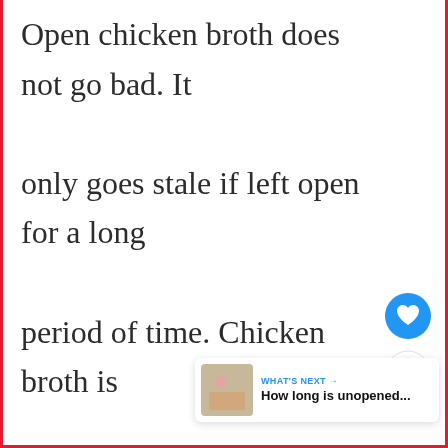Open chicken broth does not go bad. It only goes stale if left open for a long period of time. Chicken broth is generally stored in the refrigerator.
[Figure (screenshot): Blue circular heart/like button icon]
[Figure (screenshot): White circular share button icon with share symbol]
[Figure (screenshot): What's Next card with thumbnail image and text 'How long is unopened...']